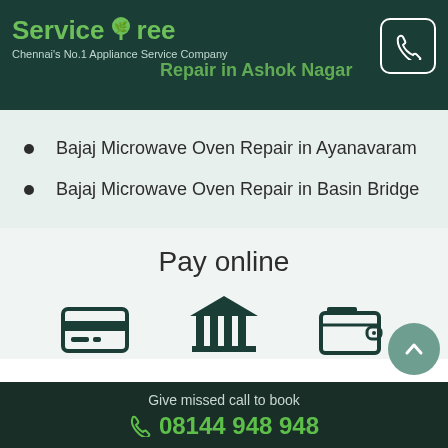ServiceTree - Chennai's No.1 Appliance Service Company
Bajaj Microwave Oven Repair in Ayanavaram
Bajaj Microwave Oven Repair in Basin Bridge
Pay online
[Figure (infographic): Three payment icons: credit card, bank/institution, wallet]
Give missed call to book 08144 948 948